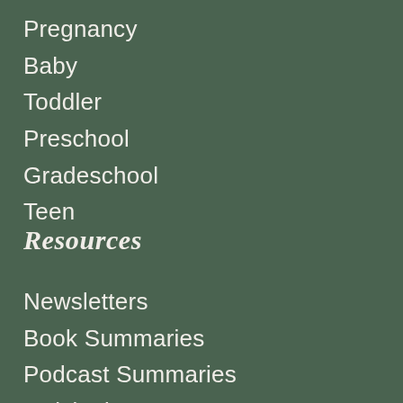Pregnancy
Baby
Toddler
Preschool
Gradeschool
Teen
Resources
Newsletters
Book Summaries
Podcast Summaries
Quick Tips
Q&A